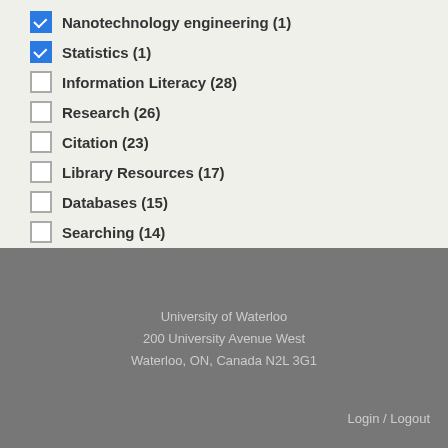Nanotechnology engineering (1)
Statistics (1)
Information Literacy (28)
Research (26)
Citation (23)
Library Resources (17)
Databases (15)
Searching (14)
Show more
University of Waterloo
200 University Avenue West
Waterloo, ON, Canada N2L 3G1
Login / Logout